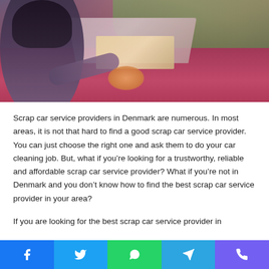[Figure (photo): Woman leaning over the open hood of a dark red/maroon car, outdoors with green trees in background]
Scrap car service providers in Denmark are numerous. In most areas, it is not that hard to find a good scrap car service provider. You can just choose the right one and ask them to do your car cleaning job. But, what if you're looking for a trustworthy, reliable and affordable scrap car service provider? What if you're not in Denmark and you don't know how to find the best scrap car service provider in your area?
If you are looking for the best scrap car service provider in
[Figure (infographic): Social sharing bar with Facebook, Twitter, WhatsApp, Telegram, and Viber icons]